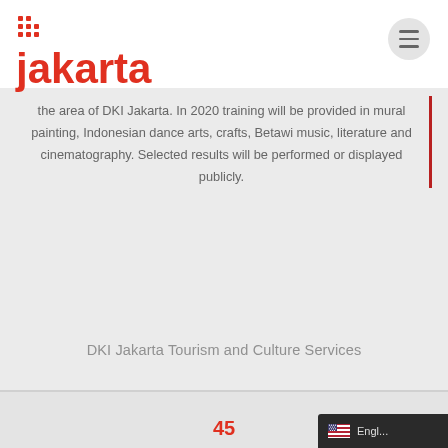Jakarta
the area of DKI Jakarta. In 2020 training will be provided in mural painting, Indonesian dance arts, crafts, Betawi music, literature and cinematography. Selected results will be performed or displayed publicly.
DKI Jakarta Tourism and Culture Services
45